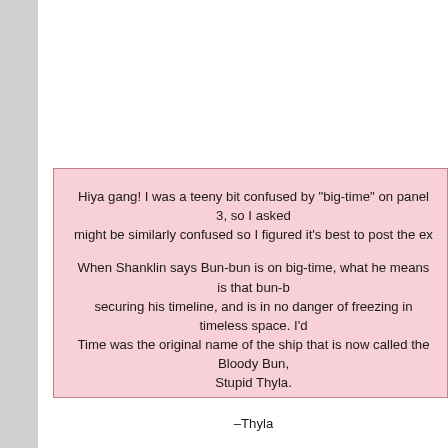Hiya gang! I was a teeny bit confused by "big-time" on panel 3, so I asked might be similarly confused so I figured it's best to post the ex

When Shanklin says Bun-bun is on big-time, what he means is that bun-b securing his timeline, and is in no danger of freezing in timeless space. I'd Time was the original name of the ship that is now called the Bloody Bun, Stupid Thyla.

–Thyla